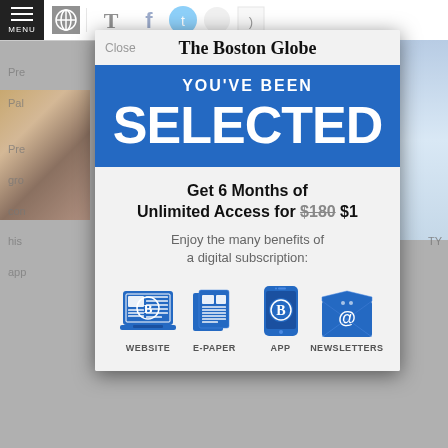[Figure (screenshot): Boston Globe website screenshot with subscription modal overlay. Top bar has hamburger menu icon with MENU label. Background shows partially visible article text and images. Modal overlay contains The Boston Globe masthead, blue YOU'VE BEEN SELECTED banner, offer text 'Get 6 Months of Unlimited Access for $180 $1', benefits text, and four blue icons for WEBSITE, E-PAPER, APP, NEWSLETTERS.]
The Boston Globe
YOU'VE BEEN
SELECTED
Get 6 Months of Unlimited Access for $180 $1
Enjoy the many benefits of a digital subscription:
WEBSITE
E-PAPER
APP
NEWSLETTERS